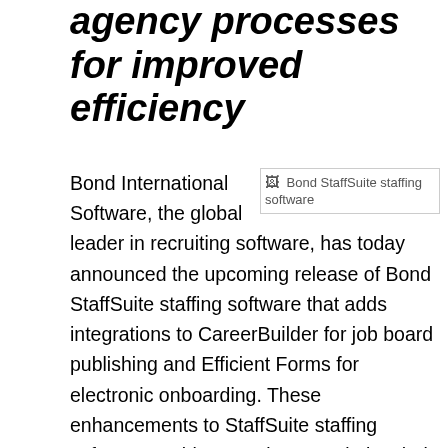agency processes for improved efficiency
[Figure (photo): Bond StaffSuite staffing software image placeholder]
Bond International Software, the global leader in recruiting software, has today announced the upcoming release of Bond StaffSuite staffing software that adds integrations to CareerBuilder for job board publishing and Efficient Forms for electronic onboarding. These enhancements to StaffSuite staffing software enable agencies to optimize their recruiting and employee onboarding processes and to reduce the time and effort associated with these tasks.